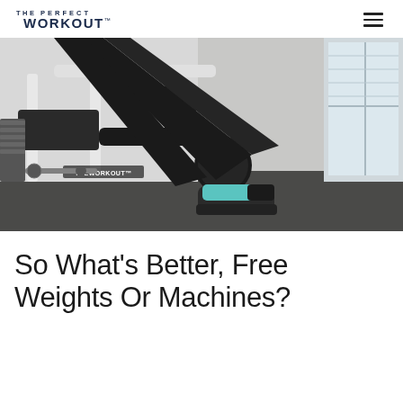THE PERFECT WORKOUT™
[Figure (photo): Person using a white leg press machine in a gym, wearing black pants and teal/black Nike sneakers, photographed from the side. The machine has black padding and weight plates. Dark carpet flooring and a window visible in the background.]
So What's Better, Free Weights Or Machines?